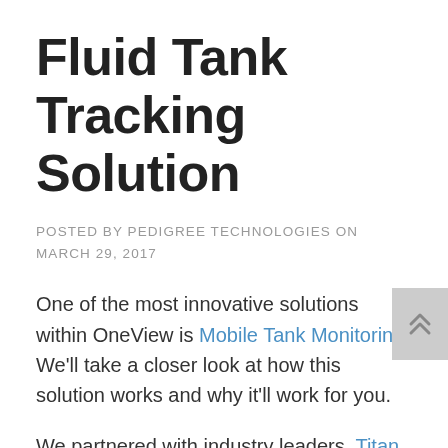Fluid Tank Tracking Solution
POSTED BY PEDIGREE TECHNOLOGIES ON MARCH 29, 2017
One of the most innovative solutions within OneView is Mobile Tank Monitoring. We'll take a closer look at how this solution works and why it'll work for you.
We partnered with industry leaders, Titan Logix and Dura-Haul to develop this system and fill a need for customers who were requesting a solution that would let them monitor their fluid levels in real-time.